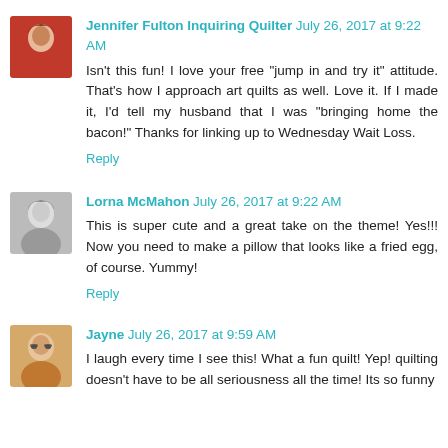[Figure (photo): Small avatar photo of Jennifer Fulton, woman with reddish hair wearing red top]
Jennifer Fulton Inquiring Quilter July 26, 2017 at 9:22 AM
Isn't this fun! I love your free "jump in and try it" attitude. That's how I approach art quilts as well. Love it. If I made it, I'd tell my husband that I was "bringing home the bacon!" Thanks for linking up to Wednesday Wait Loss.
Reply
[Figure (photo): Small avatar photo of Lorna McMahon, black and white photo]
Lorna McMahon July 26, 2017 at 9:22 AM
This is super cute and a great take on the theme! Yes!!! Now you need to make a pillow that looks like a fried egg, of course. Yummy!
Reply
[Figure (photo): Small avatar photo of Jayne, woman with sunglasses]
Jayne July 26, 2017 at 9:59 AM
I laugh every time I see this! What a fun quilt! Yep! quilting doesn't have to be all seriousness all the time! Its so funny